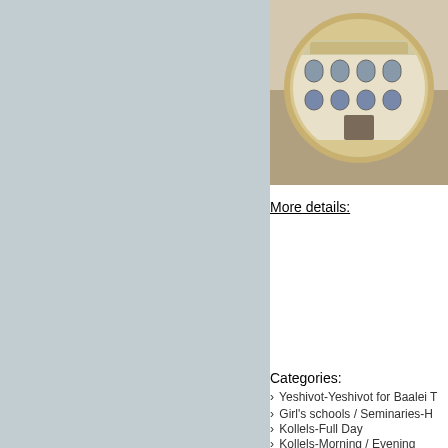[Figure (photo): Circular framed photo of a building facade, appears to be an institutional or religious building with arched windows, set against a colorful background]
More details:
Categories:
Yeshivot-Yeshivot for Baalei T
Girl's schools / Seminaries-H
Kollels-Full Day
Kollels-Morning / Evening
Kehilat Yaakov